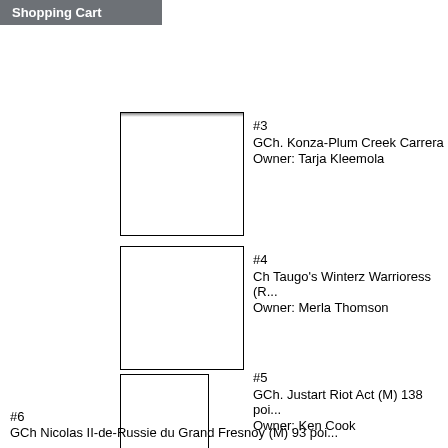Shopping Cart
[Figure (photo): Entry #3 dog photo placeholder, white box with border]
#3
GCh. Konza-Plum Creek Carrera
Owner: Tarja Kleemola
[Figure (photo): Entry #4 dog photo placeholder, white box with border]
#4
Ch Taugo's Winterz Warrioress (R...
Owner: Merla Thomson
[Figure (photo): Entry #5 dog photo placeholder, white box with border]
#5
GCh. Justart Riot Act (M) 138 poi...
Owner: Ken Cook
#6
GCh Nicolas II-de-Russie du Grand Fresnoy (M) 93 poi...